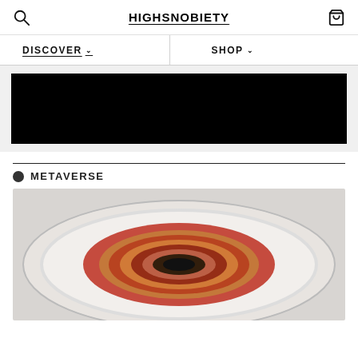HIGHSNOBIETY
DISCOVER
SHOP
[Figure (other): Black advertisement banner]
METAVERSE
[Figure (photo): Overhead view of a white oval plate with layered food item - appears to be a spiral of thinly sliced meat or food product with red sauce, on a light gray surface]